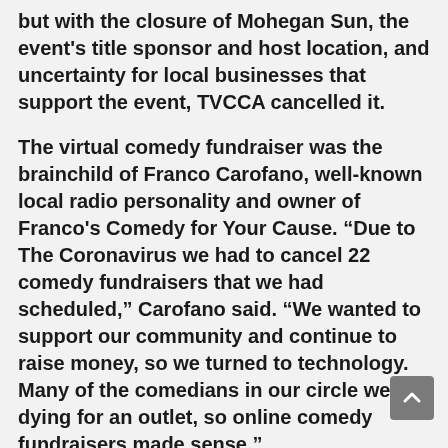but with the closure of Mohegan Sun, the event's title sponsor and host location, and uncertainty for local businesses that support the event, TVCCA cancelled it.
The virtual comedy fundraiser was the brainchild of Franco Carofano, well-known local radio personality and owner of Franco's Comedy for Your Cause. “Due to The Coronavirus we had to cancel 22 comedy fundraisers that we had scheduled,” Carofano said. “We wanted to support our community and continue to raise money, so we turned to technology. Many of the comedians in our circle were dying for an outlet, so online comedy fundraisers made sense.”
Angela Adams, GNACC Executive